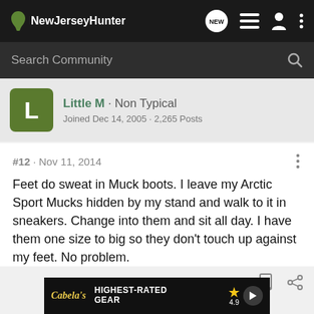NewJerseyHunter
Search Community
Little M · Non Typical
Joined Dec 14, 2005 · 2,265 Posts
#12 · Nov 11, 2014
Feet do sweat in Muck boots. I leave my Arctic Sport Mucks hidden by my stand and walk to it in sneakers. Change into them and sit all day. I have them one size to big so they don't touch up against my feet. No problem.
[Figure (screenshot): Cabela's advertisement banner showing 'HIGHEST-RATED GEAR' with a 4.9 star rating and crossbow image]